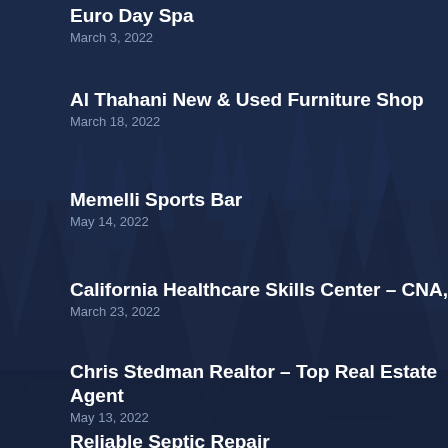[Figure (illustration): Dark navy blue background with silhouetted pine/fir trees in a misty forest scene]
Euro Day Spa
March 3, 2022
Al Thahani New & Used Furniture Shop
March 18, 2022
Memelli Sports Bar
May 14, 2022
California Healthcare Skills Center – CNA, LVN
March 23, 2022
Chris Stedman Realtor – Top Real Estate Agent
May 13, 2022
Reliable Septic Repair